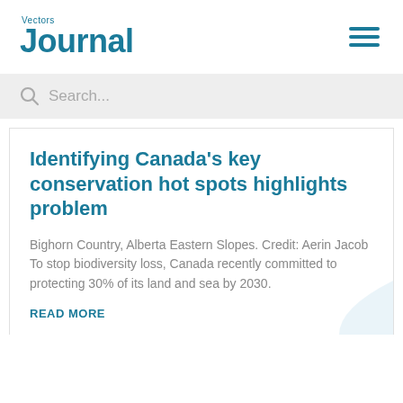Vectors Journal
Search...
Identifying Canada's key conservation hot spots highlights problem
Bighorn Country, Alberta Eastern Slopes. Credit: Aerin Jacob To stop biodiversity loss, Canada recently committed to protecting 30% of its land and sea by 2030.
READ MORE